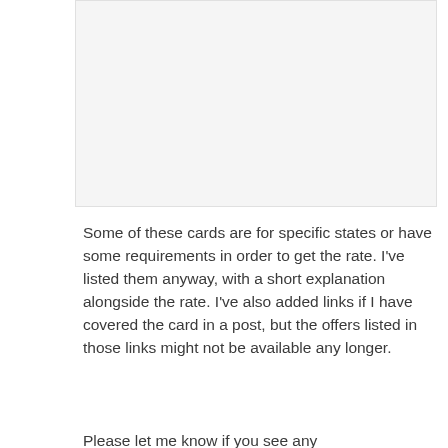[Figure (other): Image placeholder area, light gray background]
Some of these cards are for specific states or have some requirements in order to get the rate. I've listed them anyway, with a short explanation alongside the rate. I've also added links if I have covered the card in a post, but the offers listed in those links might not be available any longer.
Please let me know if you see any